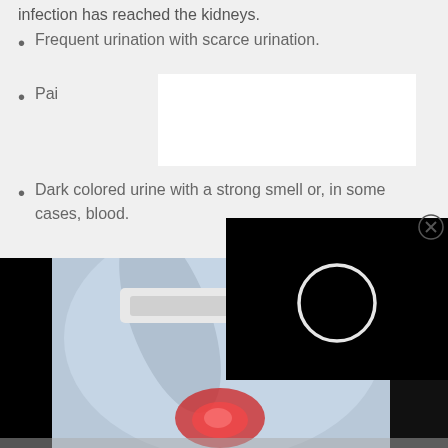infection has reached the kidneys.
Frequent urination with scarce urination.
Pai[n obscured by overlay]
Dark colored urine with a strong smell or, in some cases, blood.
Fever, nausea and vomit.
Relieving Kidney P[ain from] Urinary Infections[...]
[Figure (photo): Photo of a person holding their lower back and kidney area, with a red highlight indicating pain. Medical illustration style with bluish tones.]
[Figure (screenshot): Black video player popup overlay with a white circular loading/play icon in the center, and an X close button in the top right corner.]